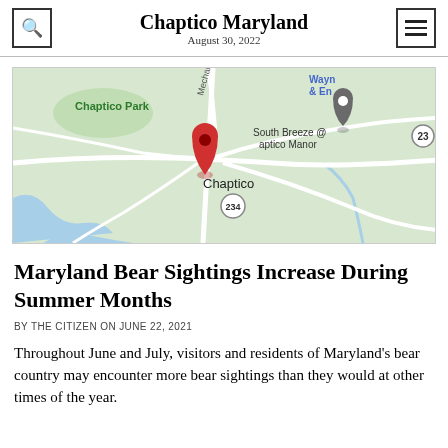Chaptico Maryland
August 30, 2022
[Figure (map): Google Maps screenshot showing Chaptico, Maryland area with a red location pin on Chaptico, a grey location pin for South Breeze @ Chaptico Manor, Chaptico Park label to the upper left, Mechanicsville road label, route 234 circle, and partial labels for Wayne & En... and 23 in upper right corner. Blue water features visible in lower left.]
Maryland Bear Sightings Increase During Summer Months
BY THE CITIZEN ON JUNE 22, 2021
Throughout June and July, visitors and residents of Maryland's bear country may encounter more bear sightings than they would at other times of the year.